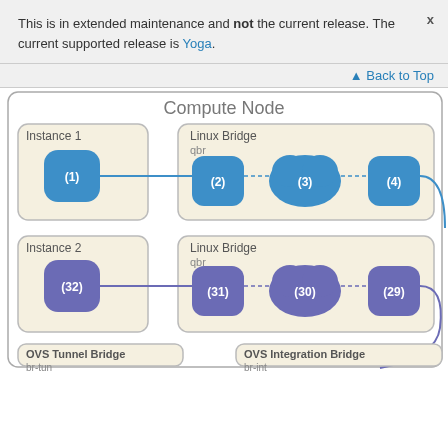This is in extended maintenance and not the current release. The current supported release is Yoga.
Back to Top
[Figure (network-graph): Network diagram showing a Compute Node with two instances (Instance 1 with node (1), Instance 2 with node (32)), each connected to a Linux Bridge (qbr) containing nodes (2),(3),(4) and (31),(30),(29) respectively. Below are partial views of OVS Tunnel Bridge (br-tun) and OVS Integration Bridge (br-int).]